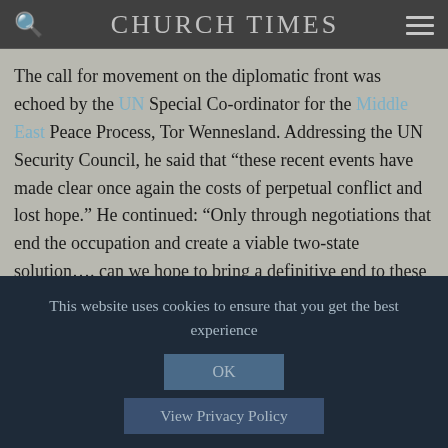CHURCH TIMES
The call for movement on the diplomatic front was echoed by the UN Special Co-ordinator for the Middle East Peace Process, Tor Wennesland. Addressing the UN Security Council, he said that “these recent events have made clear once again the costs of perpetual conflict and lost hope.” He continued: “Only through negotiations that end the occupation and create a viable two-state solution…. can we hope to bring a definitive end to these senseless and costly cycles of violence.”
This website uses cookies to ensure that you get the best experience
OK
View Privacy Policy